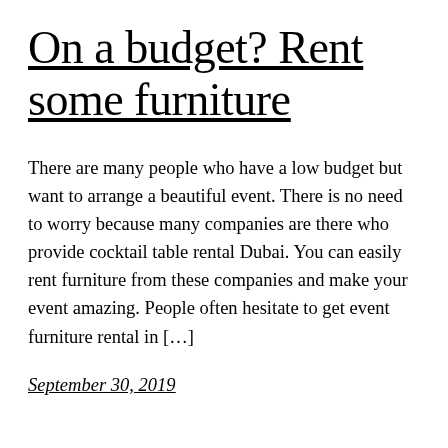On a budget? Rent some furniture
There are many people who have a low budget but want to arrange a beautiful event. There is no need to worry because many companies are there who provide cocktail table rental Dubai. You can easily rent furniture from these companies and make your event amazing. People often hesitate to get event furniture rental in […]
September 30, 2019